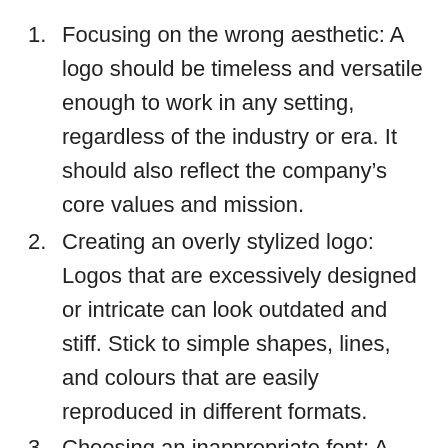Focusing on the wrong aesthetic: A logo should be timeless and versatile enough to work in any setting, regardless of the industry or era. It should also reflect the company’s core values and mission.
Creating an overly stylized logo: Logos that are excessively designed or intricate can look outdated and stiff. Stick to simple shapes, lines, and colours that are easily reproduced in different formats.
Choosing an inappropriate font: A logo’s font should be legible in small sizes but still